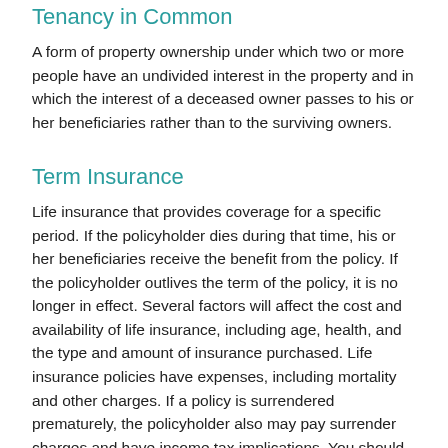Tenancy in Common
A form of property ownership under which two or more people have an undivided interest in the property and in which the interest of a deceased owner passes to his or her beneficiaries rather than to the surviving owners.
Term Insurance
Life insurance that provides coverage for a specific period. If the policyholder dies during that time, his or her beneficiaries receive the benefit from the policy. If the policyholder outlives the term of the policy, it is no longer in effect. Several factors will affect the cost and availability of life insurance, including age, health, and the type and amount of insurance purchased. Life insurance policies have expenses, including mortality and other charges. If a policy is surrendered prematurely, the policyholder also may pay surrender charges and have income tax implications. You should consider determining whether you are insurable before